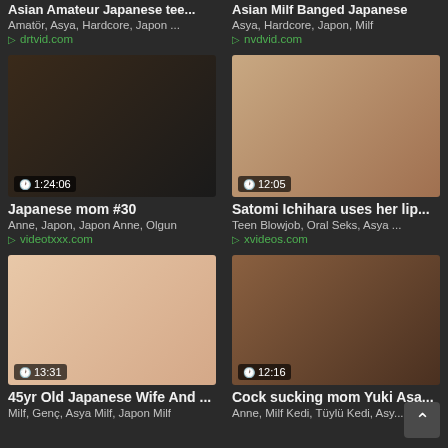Asian Amateur Japanese tee...
Asian Milf Banged Japanese
Amatör, Asya, Hardcore, Japon ...
drtvid.com
Asya, Hardcore, Japon, Milf
nvdvid.com
[Figure (screenshot): Video thumbnail with duration 1:24:06]
[Figure (screenshot): Video thumbnail with duration 12:05]
Japanese mom #30
Satomi Ichihara uses her lip...
Anne, Japon, Japon Anne, Olgun
videotxxx.com
Teen Blowjob, Oral Seks, Asya ...
xvideos.com
[Figure (screenshot): Video thumbnail with duration 13:31]
[Figure (screenshot): Video thumbnail with duration 12:16]
45yr Old Japanese Wife And ...
Cock sucking mom Yuki Asa...
Milf, Genç, Asya Milf, Japon Milf
Anne, Milf Kedi, Tüylü Kedi, Asy...